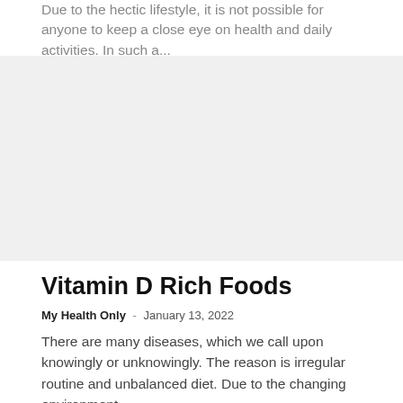Due to the hectic lifestyle, it is not possible for anyone to keep a close eye on health and daily activities. In such a...
[Figure (photo): Image placeholder / article thumbnail for Vitamin D Rich Foods article]
Vitamin D Rich Foods
My Health Only  -  January 13, 2022
There are many diseases, which we call upon knowingly or unknowingly. The reason is irregular routine and unbalanced diet. Due to the changing environment,...